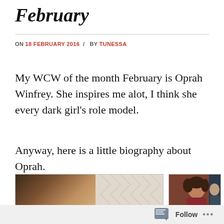February
ON 18 FEBRUARY 2016 / BY TUNESSA
My WCW of the month February is Oprah Winfrey. She inspires me alot, I think she every dark girl's role model.
Anyway, here is a little biography about Oprah.
[Figure (photo): Two photos of Oprah Winfrey side by side. Left image is a professional headshot with a quote overlay: 'The big secret in life is that there is no big secret. Whatever your goal, you can...' Right image shows Oprah in a dark red/maroon dress at an event.]